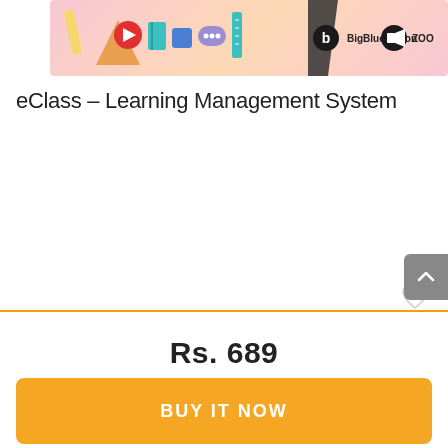[Figure (screenshot): Colorful e-learning banner showing educational icons (pencil, mountain, play button, books, ruler) alongside BigBlueButton and Zoom logos on a pink/peach gradient background]
eClass – Learning Management System
Rs. 689
BUY IT NOW